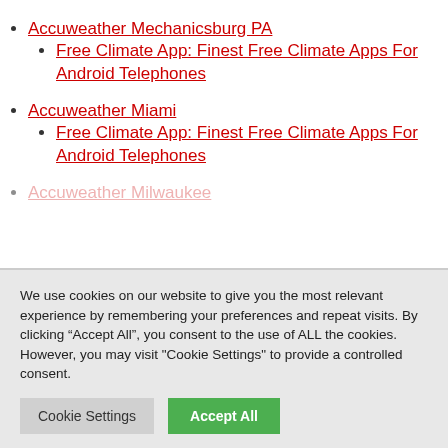Accuweather Mechanicsburg PA
Free Climate App: Finest Free Climate Apps For Android Telephones
Accuweather Miami
Free Climate App: Finest Free Climate Apps For Android Telephones
Accuweather Milwaukee
We use cookies on our website to give you the most relevant experience by remembering your preferences and repeat visits. By clicking “Accept All”, you consent to the use of ALL the cookies. However, you may visit "Cookie Settings" to provide a controlled consent.
Cookie Settings | Accept All